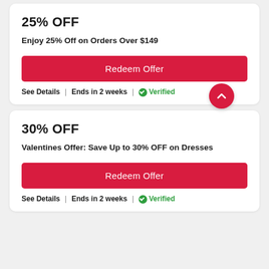25% OFF
Enjoy 25% Off on Orders Over $149
Redeem Offer
See Details | Ends in 2 weeks | ✅Verified
30% OFF
Valentines Offer: Save Up to 30% OFF on Dresses
Redeem Offer
See Details | Ends in 2 weeks | ✅Verified